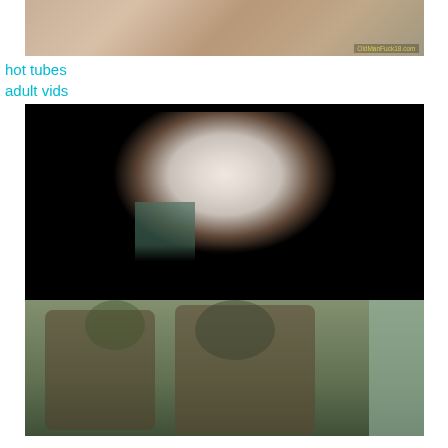[Figure (photo): Adult content thumbnail image at top of page]
hot tubes
adult vids
[Figure (photo): Adult content thumbnail image in middle of page - dark background]
[Figure (photo): Adult content thumbnail image at bottom of page]